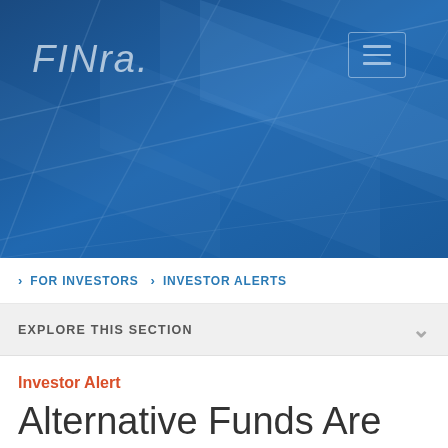[Figure (illustration): FINRA website header with dark blue geometric diamond/grid pattern background. FINRA logo in light grey-blue italic text on left. Hamburger menu icon in a bordered box on the upper right.]
> FOR INVESTORS > INVESTOR ALERTS
EXPLORE THIS SECTION
Investor Alert
Alternative Funds Are Not